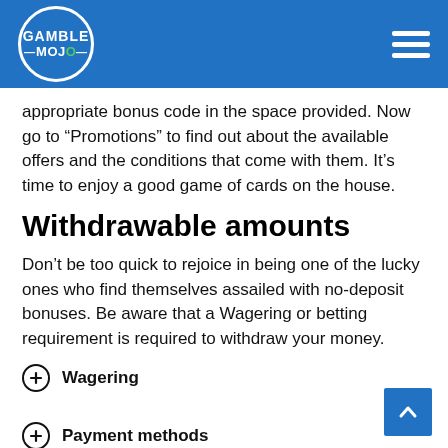GAMBLE MOJO
appropriate bonus code in the space provided. Now go to "Promotions" to find out about the available offers and the conditions that come with them. It’s time to enjoy a good game of cards on the house.
Withdrawable amounts
Don’t be too quick to rejoice in being one of the lucky ones who find themselves assailed with no-deposit bonuses. Be aware that a Wagering or betting requirement is required to withdraw your money.
Wagering
Payment methods